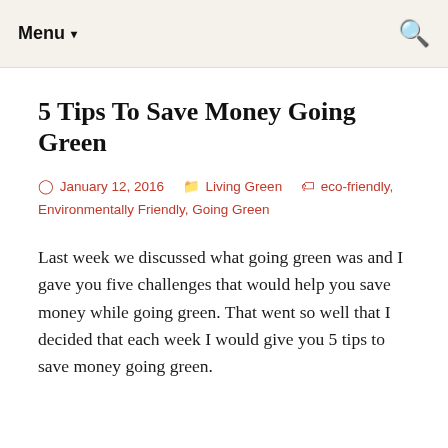Menu ▾
5 Tips To Save Money Going Green
🕐 January 12, 2016   🗂 Living Green   🏷 eco-friendly, Environmentally Friendly, Going Green
Last week we discussed what going green was and I gave you five challenges that would help you save money while going green. That went so well that I decided that each week I would give you 5 tips to save money going green.